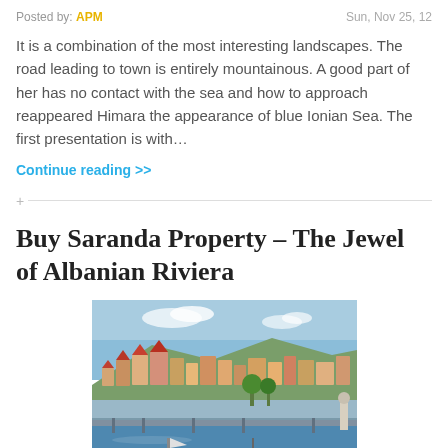Posted by: APM    Sun, Nov 25, 12
It is a combination of the most interesting landscapes. The road leading to town is entirely mountainous. A good part of her has no contact with the sea and how to approach reappeared Himara the appearance of blue Ionian Sea. The first presentation is with…
Continue reading >>
Buy Saranda Property – The Jewel of Albanian Riviera
[Figure (photo): Photo of Saranda harbor with boats moored in the foreground, colorful buildings on a hillside in the background, and a blue sky with scattered clouds.]